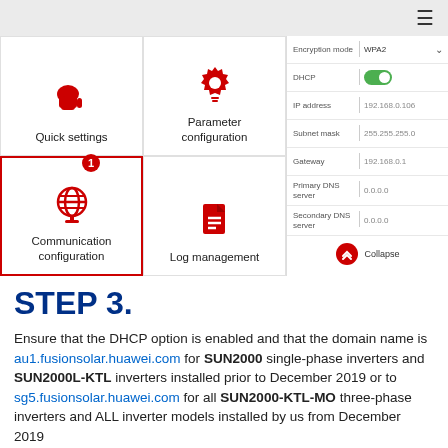[Figure (screenshot): App screenshot showing a settings menu with Quick settings, Parameter configuration, Communication configuration (selected, highlighted), and Log management tiles on the left. On the right, a settings panel showing Encryption mode: WPA2, DHCP (toggle on), IP address: 192.168.0.106, Subnet mask: 255.255.255.0, Gateway: 192.168.0.1, Primary DNS server: 0.0.0.0, Secondary DNS server: 0.0.0.0, and a Collapse button.]
STEP 3.
Ensure that the DHCP option is enabled and that the domain name is au1.fusionsolar.huawei.com for SUN2000 single-phase inverters and SUN2000L-KTL inverters installed prior to December 2019 or to sg5.fusionsolar.huawei.com for all SUN2000-KTL-MO three-phase inverters and ALL inverter models installed by us from December 2019